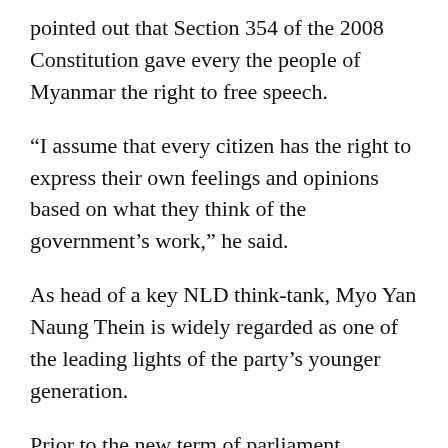pointed out that Section 354 of the 2008 Constitution gave every the people of Myanmar the right to free speech.
“I assume that every citizen has the right to express their own feelings and opinions based on what they think of the government’s work,” he said.
As head of a key NLD think-tank, Myo Yan Naung Thein is widely regarded as one of the leading lights of the party’s younger generation.
Prior to the new term of parliament commencing last January, he had been responsible for educating the party’s new lawmakers on parliamentary procedure.